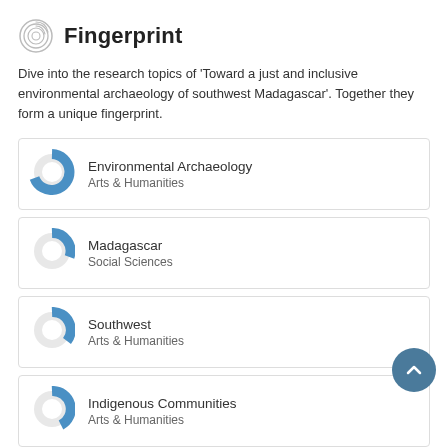Fingerprint
Dive into the research topics of 'Toward a just and inclusive environmental archaeology of southwest Madagascar'. Together they form a unique fingerprint.
Environmental Archaeology
Arts & Humanities
Madagascar
Social Sciences
Southwest
Arts & Humanities
Indigenous Communities
Arts & Humanities
Collaborative Projects